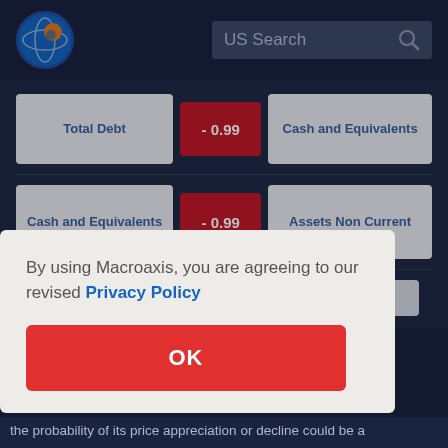[Figure (logo): Macroaxis globe logo with orange and blue colors]
US Search
| Metric 1 | Correlation | Metric 2 |
| --- | --- | --- |
| Total Debt | - 0.99 | Cash and Equivalents |
| Cash and Equivalents | - 0.99 | Assets Non Current |
| Trade and Non Trade |  |  |
By using Macroaxis, you are agreeing to our revised Privacy Policy
OK
the probability of its price appreciation or decline could be a